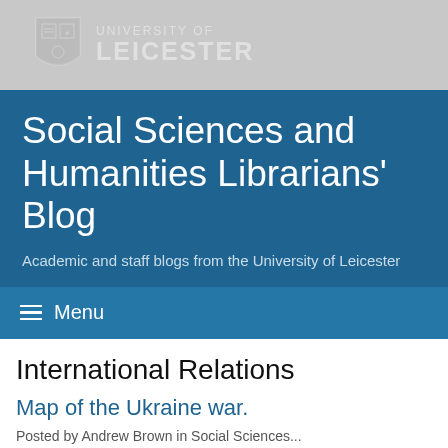[Figure (logo): University of Leicester shield logo with text 'UNIVERSITY OF LEICESTER' on grey background header bar]
Social Sciences and Humanities Librarians' Blog
Academic and staff blogs from the University of Leicester
≡ Menu
International Relations
Map of the Ukraine war.
Posted by Andrew Brown in Social Sciences...